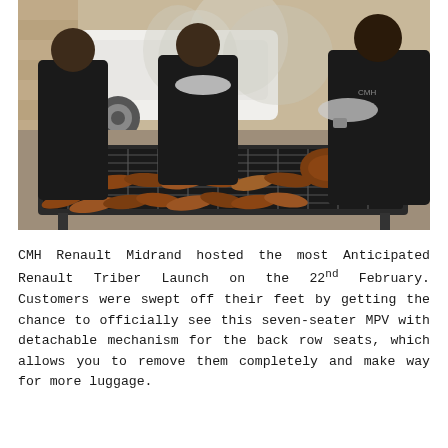[Figure (photo): Three men in dark shirts grilling sausages on a large outdoor braai/barbecue grill. Smoke rises from the grill. A white pickup truck is visible in the background.]
CMH Renault Midrand hosted the most Anticipated Renault Triber Launch on the 22nd February. Customers were swept off their feet by getting the chance to officially see this seven-seater MPV with detachable mechanism for the back row seats, which allows you to remove them completely and make way for more luggage.